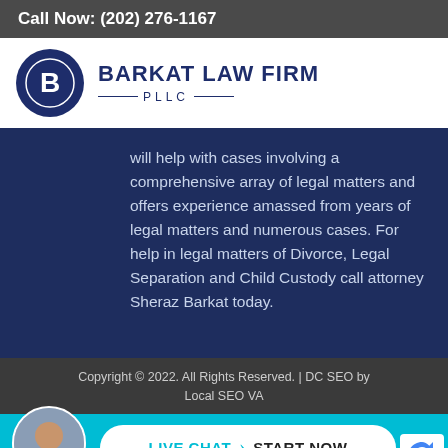Call Now: (202) 276-1167
[Figure (logo): Barkat Law Firm PLLC logo with circular dark navy emblem containing a stylized B, beside bold text BARKAT LAW FIRM PLLC]
will help with cases involving a comprehensive array of legal matters and offers experience amassed from years of legal matters and numerous cases. For help in legal matters of Divorce, Legal Separation and Child Custody call attorney Sheraz Barkat today.
Copyright © 2022. All Rights Reserved. | DC SEO by Local SEO VA
[Figure (infographic): Live chat bar with avatar photo of attorney, white pill-shaped button with LIVE CHAT > START NOW text in cyan and black on cyan background]